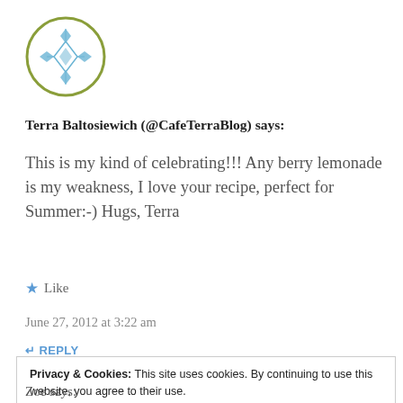[Figure (logo): Circular avatar with blue diamond/star geometric pattern on white background with olive green circle border]
Terra Baltosiewich (@CafeTerraBlog) says:
This is my kind of celebrating!!! Any berry lemonade is my weakness, I love your recipe, perfect for Summer:-) Hugs, Terra
★ Like
June 27, 2012 at 3:22 am
↵ REPLY
Privacy & Cookies: This site uses cookies. By continuing to use this website, you agree to their use.
To find out more, including how to control cookies, see here:
Cookie Policy
Close and accept
Zoe says: